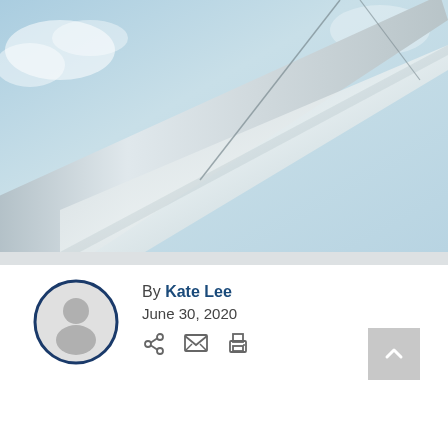[Figure (photo): Upward-looking perspective photo of a large white structural beam or bridge tower against a blue sky with light clouds]
[Figure (illustration): Circular avatar icon with a generic person silhouette, outlined in dark navy blue]
By Kate Lee
June 30, 2020
[Figure (infographic): Row of action icons: share, email, print]
[Figure (other): Scroll-to-top button (grey square with upward chevron arrow)]